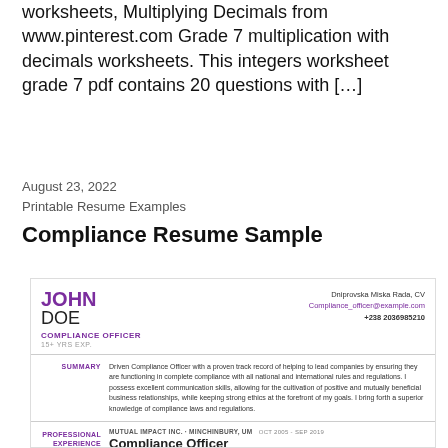worksheets, Multiplying Decimals from www.pinterest.com Grade 7 multiplication with decimals worksheets. This integers worksheet grade 7 pdf contains 20 questions with […]
August 23, 2022
Printable Resume Examples
Compliance Resume Sample
[Figure (other): A sample compliance resume card for 'John Doe, Compliance Officer, 15+ YRS EXP.' showing contact info (Dniprovska Miska Rada, CV; Compliance_officer@example.com; +238 2036985210), a Summary section, and a Professional Experience section with Mutual Impact Inc. listing.]